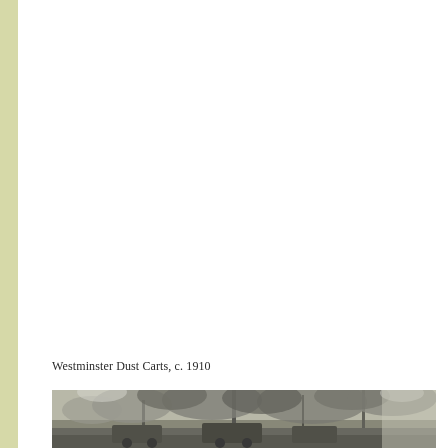Westminster Dust Carts, c. 1910
[Figure (photo): Black and white photograph showing Westminster Dust Carts circa 1910, depicting trees and outdoor scene, partially visible at the bottom of the page]